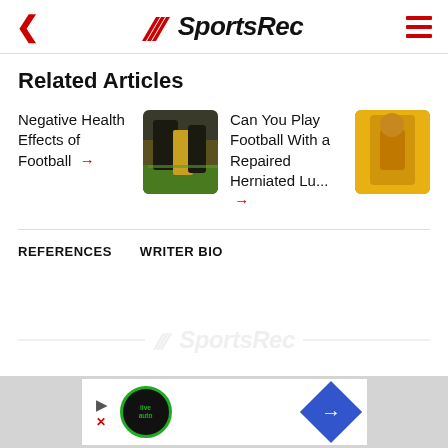SportsRec
Related Articles
Negative Health Effects of Football →
[Figure (photo): Football players in black and gold uniforms, crouching on field]
Can You Play Football With a Repaired Herniated Lu... →
[Figure (photo): Person in yellow jersey holding football]
REFERENCES
WRITER BIO
[Figure (logo): SportsRec watermark logo in background]
[Figure (screenshot): Advertisement bar at bottom with liveauto badge and navigation arrow]